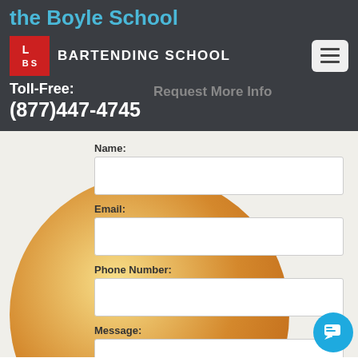the Boyle School
LBS BARTENDING SCHOOL | Toll-Free: (877)447-4745 | Request More Info
Name:
Email:
Phone Number:
Message: